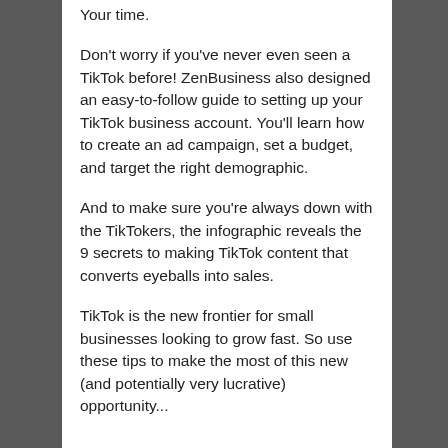Your time.
Don't worry if you've never even seen a TikTok before! ZenBusiness also designed an easy-to-follow guide to setting up your TikTok business account. You'll learn how to create an ad campaign, set a budget, and target the right demographic.
And to make sure you're always down with the TikTokers, the infographic reveals the 9 secrets to making TikTok content that converts eyeballs into sales.
TikTok is the new frontier for small businesses looking to grow fast. So use these tips to make the most of this new (and potentially very lucrative) opportunity...